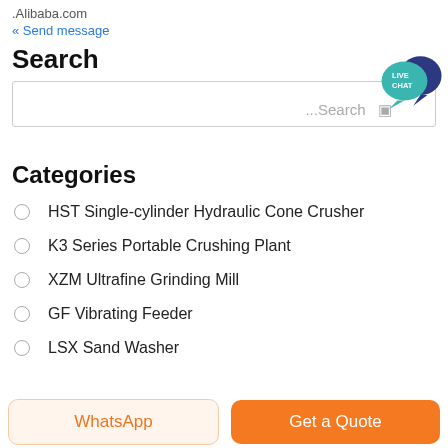.Alibaba.com
« Send message
Search
[Figure (screenshot): Search input box with placeholder text '...Search' and a Live Chat speech bubble icon in the top right corner]
Categories
HST Single-cylinder Hydraulic Cone Crusher
K3 Series Portable Crushing Plant
XZM Ultrafine Grinding Mill
GF Vibrating Feeder
LSX Sand Washer
WhatsApp  |  Get a Quote